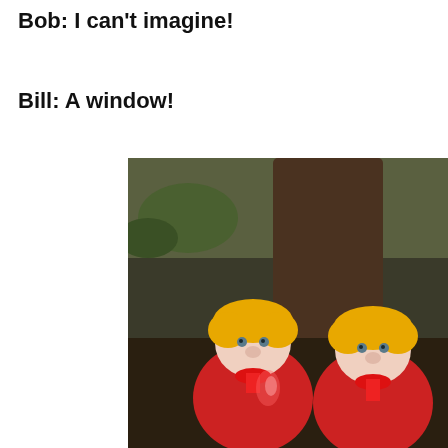Bob: I can't imagine!
Bill: A window!
[Figure (photo): Two identical plush dolls with yellow hair and red outfits sitting in front of a tree outdoors]